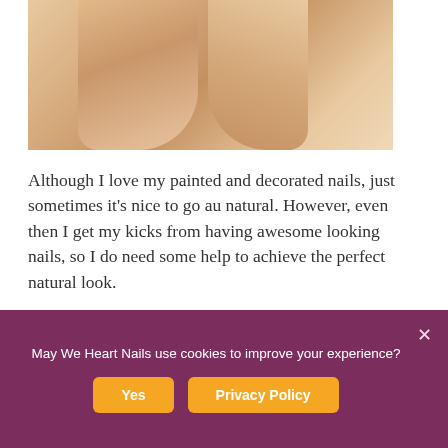[Figure (photo): Partial view of a person's upper arms and underarm area against a white background, showing natural skin tone.]
Although I love my painted and decorated nails, just sometimes it's nice to go au natural. However, even then I get my kicks from having awesome looking nails, so I do need some help to achieve the perfect natural look.
Fake acrylic nails don't have to look fake. With a little effort, no one will ever know they're not your natural nails, and it's easier than it looks to do this at home.
May We Heart Nails use cookies to improve your experience?
Yes
Privacy Policy